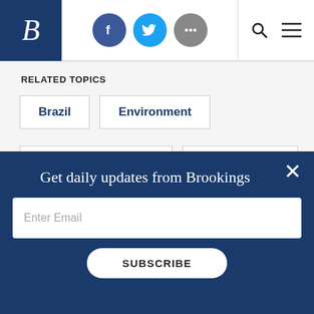Brookings Institution header with logo, social icons (Facebook, Twitter, more), search and menu
RELATED TOPICS
Brazil
Environment
Global Development
Transparency
Get daily updates from Brookings
Enter Email
SUBSCRIBE